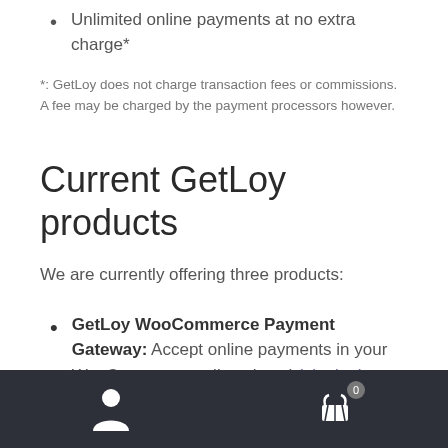Unlimited online payments at no extra charge*
*: GetLoy does not charge transaction fees or commissions. A fee may be charged by the payment processors however.
Current GetLoy products
We are currently offering three products:
GetLoy WooCommerce Payment Gateway: Accept online payments in your WooCommerce online shop (visit plugin page)